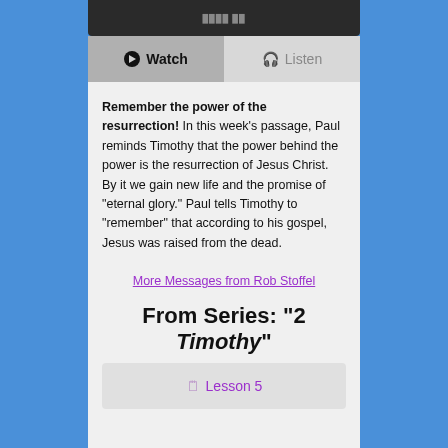[Figure (screenshot): Dark top bar of a mobile UI card]
[Figure (screenshot): Watch and Listen buttons row]
Remember the power of the resurrection! In this week's passage, Paul reminds Timothy that the power behind the power is the resurrection of Jesus Christ. By it we gain new life and the promise of “eternal glory.” Paul tells Timothy to “remember” that according to his gospel, Jesus was raised from the dead.
More Messages from Rob Stoffel
From Series: "2 Timothy"
Lesson 5